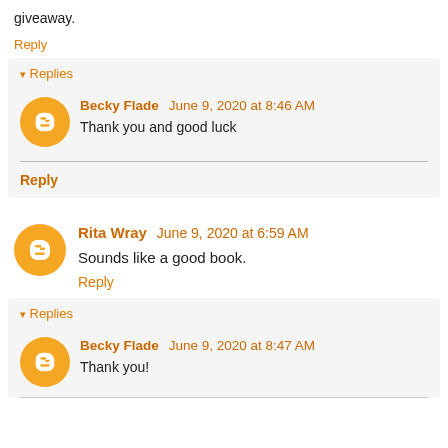giveaway.
Reply
Replies
Becky Flade June 9, 2020 at 8:46 AM
Thank you and good luck
Reply
Rita Wray June 9, 2020 at 6:59 AM
Sounds like a good book.
Reply
Replies
Becky Flade June 9, 2020 at 8:47 AM
Thank you!